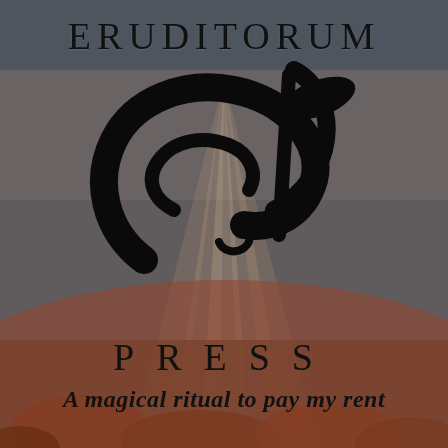[Figure (logo): Eruditorum Press logo page with warm earthy background showing mountain/landscape imagery with orange, rose, and slate-blue tones. Features the text ERUDITORUM at top, a large stylized EP monogram logo in the center, PRESS below in spaced letters, and the tagline 'A magical ritual to pay my rent' at the bottom.]
ERUDITORUM
PRESS
A magical ritual to pay my rent